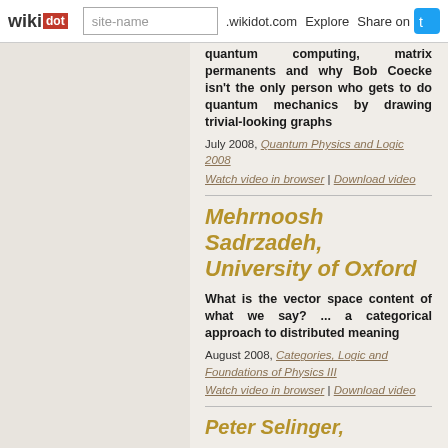wikidot | site-name .wikidot.com | Explore | Share on
quantum computing, matrix permanents and why Bob Coecke isn't the only person who gets to do quantum mechanics by drawing trivial-looking graphs
July 2008, Quantum Physics and Logic 2008
Watch video in browser | Download video
Mehrnoosh Sadrzadeh, University of Oxford
What is the vector space content of what we say? ... a categorical approach to distributed meaning
August 2008, Categories, Logic and Foundations of Physics III
Watch video in browser | Download video
Peter Selinger,